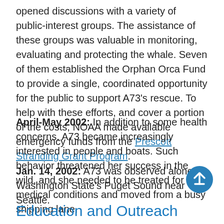opened discussions with a variety of public-interest groups. The assistance of these groups was valuable in monitoring, evaluating and protecting the whale. Seven of them established the Orphan Orca Fund to provide a single, coordinated opportunity for the public to support A73's rescue. To help with these efforts, and cover a portion of the costs, NOAA made available emergency funds from the Prescott Stranding Grant Program.
April-May 2002: In addition to some health concerns, A73 became increasingly interested in people and boats. Such behavior threatened her success in the wild, and she needed to be treated for her medical conditions and moved from a busy shipping lane.
Jan. 14, 2002: A73 was observed alone in Washington State's Puget Sound near Seattle.
Education and Outreach